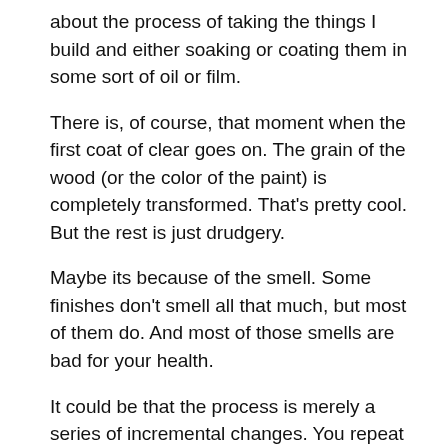about the process of taking the things I build and either soaking or coating them in some sort of oil or film.
There is, of course, that moment when the first coat of clear goes on. The grain of the wood (or the color of the paint) is completely transformed. That's pretty cool. But the rest is just drudgery.
Maybe its because of the smell. Some finishes don't smell all that much, but most of them do. And most of those smells are bad for your health.
It could be that the process is merely a series of incremental changes. You repeat the steps over and over again with little to no noticeable effect.